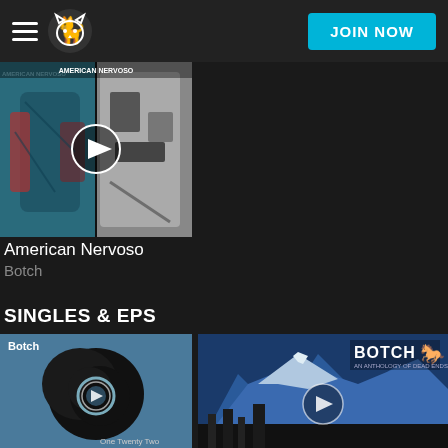Napster — JOIN NOW
[Figure (photo): Album art for American Nervoso by Botch — collage of two images: left shows a tattooed person in blue/red, right shows a black and white abstract image, with a circular play button overlay]
American Nervoso
Botch
SINGLES & EPS
[Figure (photo): Album art on blue background with large black circular ink blot and small play button overlay, label reads 'Botch' top left and 'One Twenty Two' bottom right]
[Figure (photo): Album art showing mountain range (Tetons) with BOTCH logo top right and a horse silhouette, circular play button overlay in center]